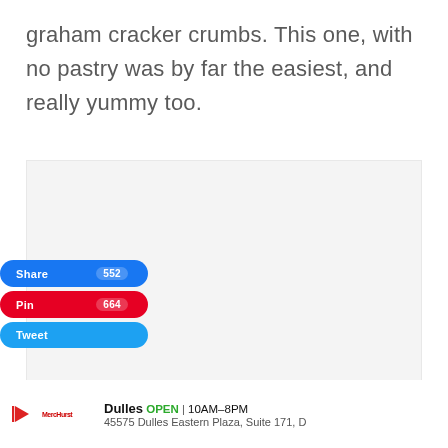graham cracker crumbs. This one, with no pastry was by far the easiest, and really yummy too.
[Figure (photo): Light gray placeholder image area with three small circular dots at the bottom center, indicating a loading or empty image slot.]
Share 552
Pin 664
Tweet
Dulles OPEN | 10AM–8PM 45575 Dulles Eastern Plaza, Suite 171, D